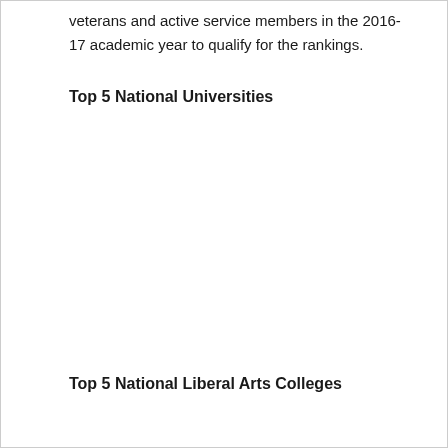veterans and active service members in the 2016-17 academic year to qualify for the rankings.
Top 5 National Universities
Top 5 National Liberal Arts Colleges